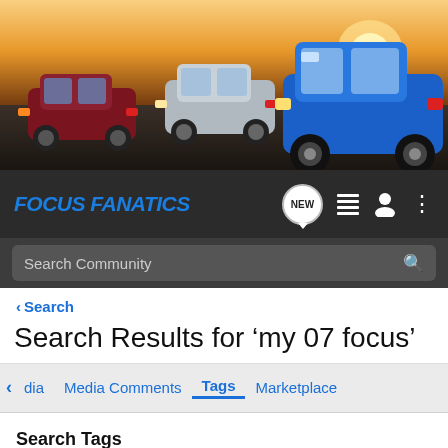[Figure (photo): Banner photo showing three Ford Focus cars on a road with a sunset/dusk background. Cars from left: dark red/maroon hatchback, silver/white hatchback, and large blue hatchback on the right foreground.]
FOCUS FANATICS — navigation bar with NEW, list, user, and menu icons — Search Community search bar
< Search
Search Results for ‘my 07 focus’
< dia   Media Comments   Tags   Marketplace
Search Tags
× my 07 focus   [Search button]